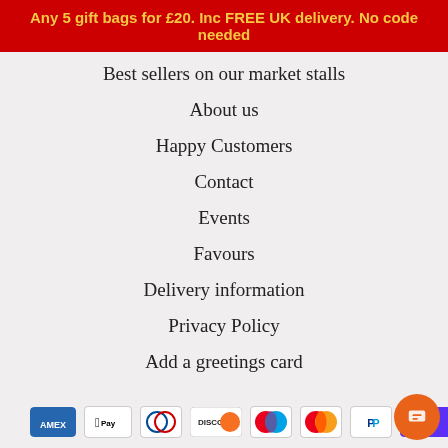Any 5 gift bags for £20. Inc FREE UK delivery. No code needed
Best sellers on our market stalls
About us
Happy Customers
Contact
Events
Favours
Delivery information
Privacy Policy
Add a greetings card
[Figure (other): Payment method icons: American Express, Apple Pay, Diners Club, Discover, Maestro, Mastercard, PayPal, Shop Pay]